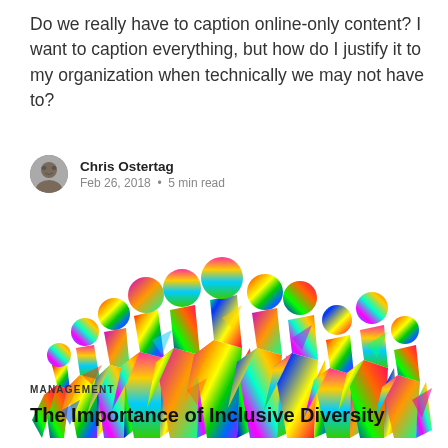Do we really have to caption online-only content? I want to caption everything, but how do I justify it to my organization when technically we may not have to?
Chris Ostertag
Feb 26, 2018 • 5 min read
[Figure (illustration): Colorful low-poly silhouettes of a diverse group of people standing together, rendered in vibrant rainbow polygon art style]
MANAGEMENT
The Importance of Inclusive Diversity